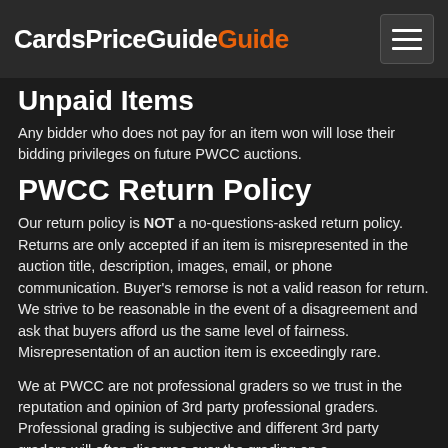CardsPriceGuide
Unpaid Items
Any bidder who does not pay for an item won will lose their bidding privileges on future PWCC auctions.
PWCC Return Policy
Our return policy is NOT a no-questions-asked return policy. Returns are only accepted if an item is misrepresented in the auction title, description, images, email, or phone communication. Buyer's remorse is not a valid reason for return. We strive to be reasonable in the event of a disagreement and ask that buyers afford us the same level of fairness. Misrepresentation of an auction item is exceedingly rare.
We at PWCC are not professional graders so we trust in the reputation and opinion of 3rd party professional graders. Professional grading is subjective and different 3rd party graders will often disagree over the grading on a